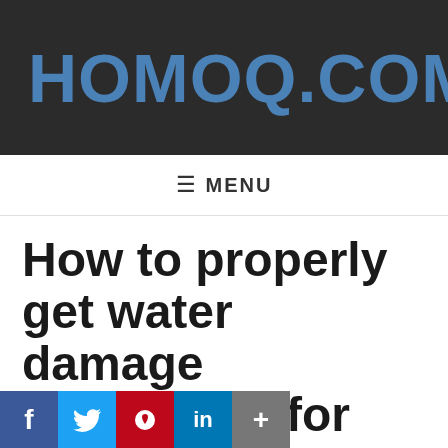HOMOQ.COM
≡ MENU
How to properly get water damage restoration for your home? – The correct